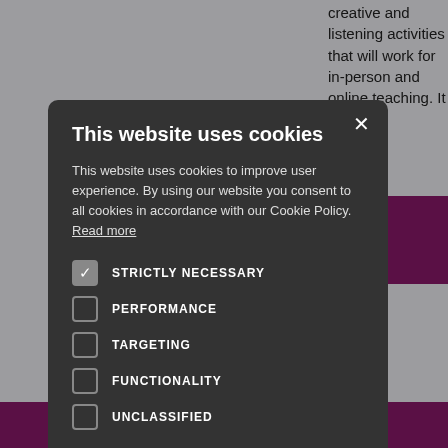creative and listening activities that will work for in-person and online teaching. It would be
[Figure (screenshot): Cookie consent modal dialog on a dark background overlay. Modal title: 'This website uses cookies'. Body text describes cookie usage and consent. Checkboxes for: Strictly Necessary (checked), Performance, Targeting, Functionality, Unclassified. Buttons: ACCEPT ALL (green) and DECLINE ALL (outline). SHOW DETAILS link at bottom.]
Download Now